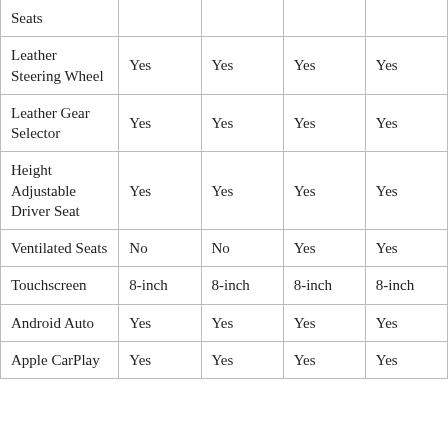| Feature | Col1 | Col2 | Col3 | Col4 |
| --- | --- | --- | --- | --- |
| Seats |  |  |  |  |
| Leather Steering Wheel | Yes | Yes | Yes | Yes |
| Leather Gear Selector | Yes | Yes | Yes | Yes |
| Height Adjustable Driver Seat | Yes | Yes | Yes | Yes |
| Ventilated Seats | No | No | Yes | Yes |
| Touchscreen | 8-inch | 8-inch | 8-inch | 8-inch |
| Android Auto | Yes | Yes | Yes | Yes |
| Apple CarPlay | Yes | Yes | Yes | Yes |